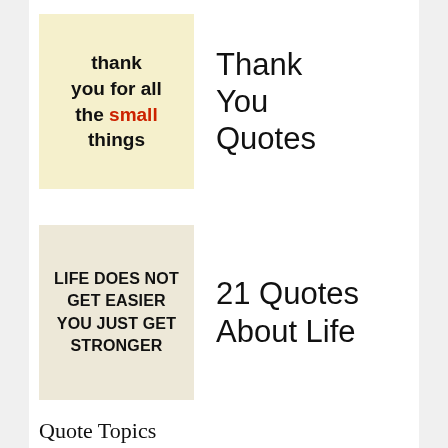[Figure (illustration): Yellow square thumbnail with bold text: 'thank you for all the small things' where 'small' is in red]
Thank You Quotes
[Figure (illustration): Beige square thumbnail with bold uppercase text: 'LIFE DOES NOT GET EASIER YOU JUST GET STRONGER']
21 Quotes About Life
Quote Topics
Friendship